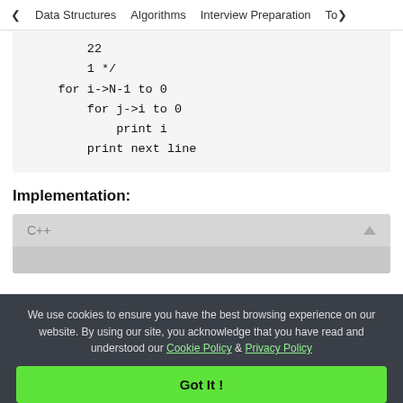< Data Structures   Algorithms   Interview Preparation   To>
22
    1 */
for i->N-1 to 0
    for j->i to 0
        print i
    print next line
Implementation:
C++
We use cookies to ensure you have the best browsing experience on our website. By using our site, you acknowledge that you have read and understood our Cookie Policy & Privacy Policy
Got It !